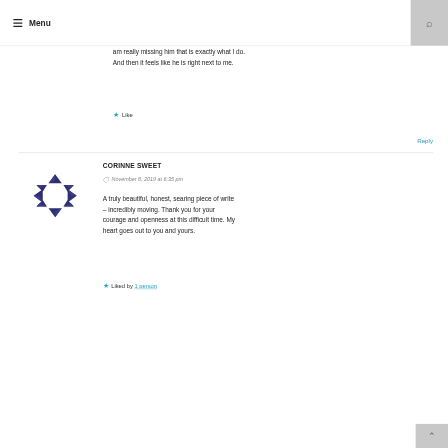Menu
am really missing him that is exactly what I do. And then it feels like he is right next to me.
★ Like
Reply
[Figure (logo): Circular logo made of dark blue diamond/triangle shapes arranged in a ring pattern]
CORINNE SWEET
November 8, 2019 at 6:35 pm
A truly beautiful, honest, searing piece of write – incredibly moving. Thank you for your courage and openness at this difficult time. My heart goes out to you and yours.
★ Liked by 1 person